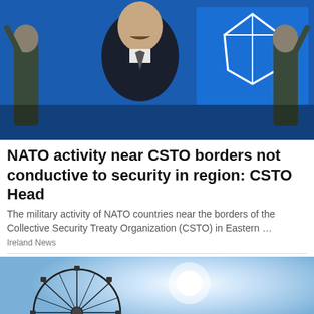[Figure (photo): A man with a moustache wearing a dark jacket stands in front of a blue flag with a white emblem (CSTO), flanked by uniformed soldiers.]
NATO activity near CSTO borders not conductive to security in region: CSTO Head
The military activity of NATO countries near the borders of the Collective Security Treaty Organization (CSTO) in Eastern …
Ireland News
[Figure (photo): The London Eye Ferris wheel silhouetted against a bright blue sky with the sun glowing behind it.]